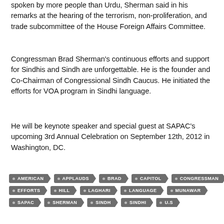spoken by more people than Urdu, Sherman said in his remarks at the hearing of the terrorism, non-proliferation, and trade subcommittee of the House Foreign Affairs Committee.
Congressman Brad Sherman's continuous efforts and support for Sindhis and Sindh are unforgettable. He is the founder and Co-Chairman of Congressional Sindh Caucus. He initiated the efforts for VOA program in Sindhi language.
He will be keynote speaker and special guest at SAPAC's upcoming 3rd Annual Celebration on September 12th, 2012 in Washington, DC.
AMERICAN
APPLAUDS
BRAD
CAPITOL
CONGRESSMAN
EFFORTS
HILL
LAGHARI
LANGUAGE
MUNAWAR
SAPAC
SHERMAN
SINDH
SINDHI
U.S